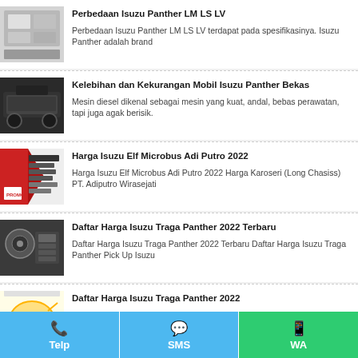Perbedaan Isuzu Panther LM LS LV — Perbedaan Isuzu Panther LM LS LV terdapat pada spesifikasinya. Isuzu Panther adalah brand
Kelebihan dan Kekurangan Mobil Isuzu Panther Bekas — Mesin diesel dikenal sebagai mesin yang kuat, andal, bebas perawatan, tapi juga agak berisik.
Harga Isuzu Elf Microbus Adi Putro 2022 — Harga Isuzu Elf Microbus Adi Putro 2022 Harga Karoseri (Long Chasiss) PT. Adiputro Wirasejati
Daftar Harga Isuzu Traga Panther 2022 Terbaru — Daftar Harga Isuzu Traga Panther 2022 Terbaru Daftar Harga Isuzu Traga Panther Pick Up Isuzu
Daftar Harga Isuzu Traga Panther 2022 — Daftar Harga Isuzu Traga Panther 2022 Spesifikasi :: Tipe Mesin : 4JA1 Isi Silinder 2.448
Telp   SMS   WA